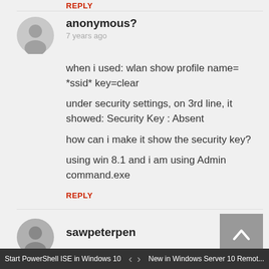REPLY
anonymous?
7 years ago
when i used: wlan show profile name= *ssid* key=clear

under security settings, on 3rd line, it showed: Security Key : Absent

how can i make it show the security key?

using win 8.1 and i am using Admin command.exe
REPLY
sawpeterpen
Start PowerShell ISE in Windows 10   < >   New in Windows Server 10 Remot...